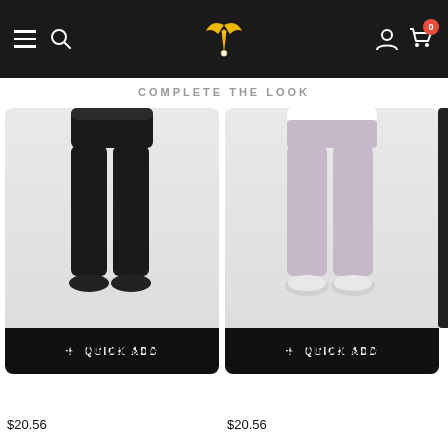Navigation bar with menu, search, logo, user account, and cart (0 items)
COMPLETE THE LOOK
[Figure (photo): Black energy legging cross band high waist product photo on model, cropped at waist and ankles, white background, with Quick Add button]
ENERGY LEGGING CROSS BAND HIGH WAIST
$20.56
[Figure (photo): Light gray/mauve energy legging cross band high waist product photo on model, cropped at waist and ankles, white background, with Quick Add button]
ENERGY LEGGING CROSS BAND HIGH WAIST
$20.56